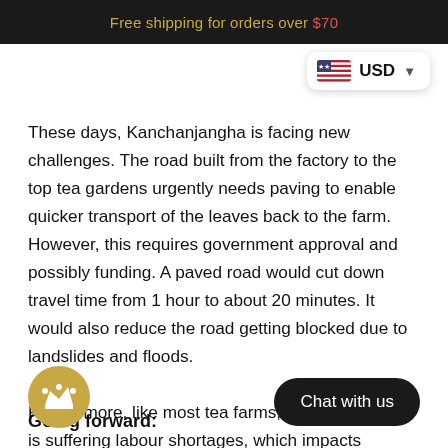Free shipping for orders over $70
These days, Kanchanjangha is facing new challenges. The road built from the factory to the top tea gardens urgently needs paving to enable quicker transport of the leaves back to the farm. However, this requires government approval and possibly funding. A paved road would cut down travel time from 1 hour to about 20 minutes. It would also reduce the road getting blocked due to landslides and floods. Furthermore, like most tea farms, Kanchanjangha is suffering labour shortages, which impacts production quantity and quality. While the older generations are used to the hard work and happy to pluck for a whole day, younger rural folks in the high mountain are less keen and there are fewer of them coming to before.
Going forward: